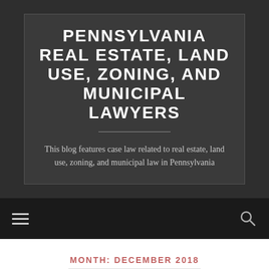PENNSYLVANIA REAL ESTATE, LAND USE, ZONING, AND MUNICIPAL LAWYERS
This blog features case law related to real estate, land use, zoning, and municipal law in Pennsylvania
MONTH: DECEMBER 2018